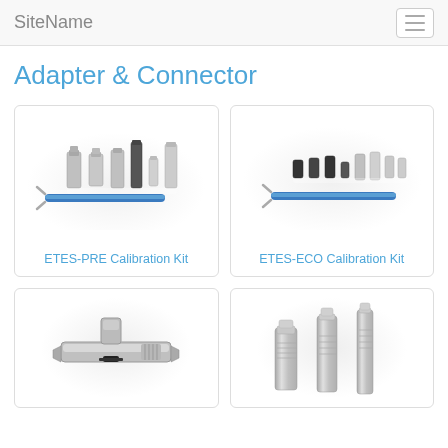SiteName
Adapter & Connector
[Figure (photo): ETES-PRE Calibration Kit showing multiple silver connectors/adapters and a blue torque wrench]
ETES-PRE Calibration Kit
[Figure (photo): ETES-ECO Calibration Kit showing multiple small black and silver connectors and a blue torque wrench]
ETES-ECO Calibration Kit
[Figure (photo): T-shaped silver connector adapter with black strap]
[Figure (photo): Three silver cylindrical connectors/adapters of varying sizes]